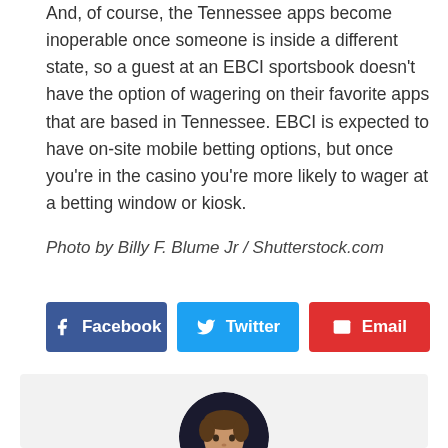And, of course, the Tennessee apps become inoperable once someone is inside a different state, so a guest at an EBCI sportsbook doesn't have the option of wagering on their favorite apps that are based in Tennessee. EBCI is expected to have on-site mobile betting options, but once you're in the casino you're more likely to wager at a betting window or kiosk.
Photo by Billy F. Blume Jr / Shutterstock.com
[Figure (infographic): Social share buttons for Facebook, Twitter, and Email]
[Figure (photo): Circular author profile photo of a young man smiling, dark background]